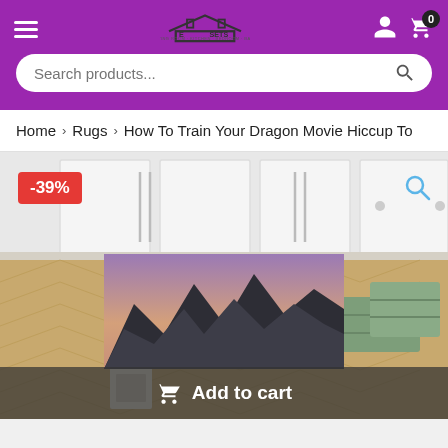[Figure (screenshot): E-commerce website header with purple background, hamburger menu, logo (house icon with SETS text), user icon, cart icon with 0 badge, and search bar]
Home > Rugs > How To Train Your Dragon Movie Hiccup To
[Figure (photo): Product page showing a room with herringbone wood floor, white cabinetry, green crates, scattered items. Overlaid is a discount badge showing -39%, a zoom icon, a partial dragon movie image thumbnail, and an Add to cart button at the bottom.]